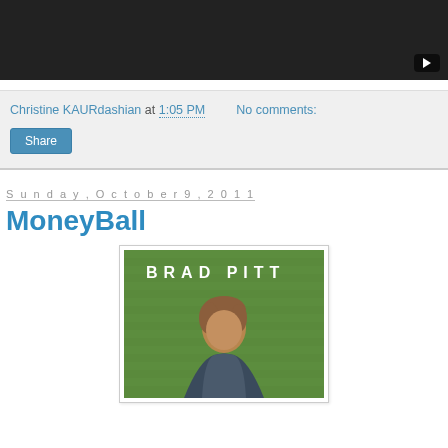[Figure (screenshot): Dark video embed placeholder with play button in bottom right corner]
Christine KAURdashian at 1:05 PM    No comments:
Share
Sunday, October 9, 2011
MoneyBall
[Figure (photo): MoneyBall movie poster showing Brad Pitt on a green baseball field background with text BRAD PITT at top]